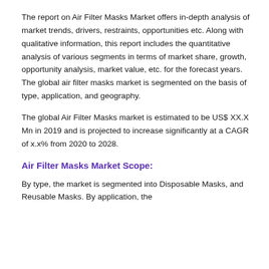The report on Air Filter Masks Market offers in-depth analysis of market trends, drivers, restraints, opportunities etc. Along with qualitative information, this report includes the quantitative analysis of various segments in terms of market share, growth, opportunity analysis, market value, etc. for the forecast years. The global air filter masks market is segmented on the basis of type, application, and geography.
The global Air Filter Masks market is estimated to be US$ XX.X Mn in 2019 and is projected to increase significantly at a CAGR of x.x% from 2020 to 2028.
Air Filter Masks Market Scope:
By type, the market is segmented into Disposable Masks, and Reusable Masks. By application, the